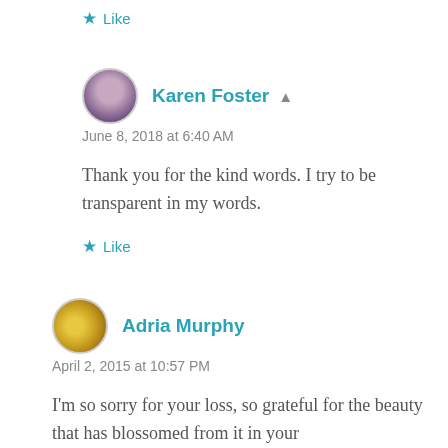Like
Karen Foster
June 8, 2018 at 6:40 AM
Thank you for the kind words. I try to be transparent in my words.
Like
Adria Murphy
April 2, 2015 at 10:57 PM
I'm so sorry for your loss, so grateful for the beauty that has blossomed from it in your